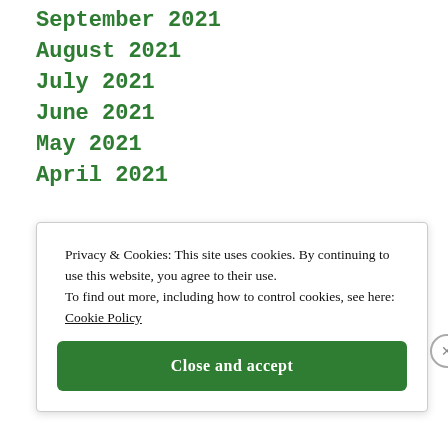September 2021
August 2021
July 2021
June 2021
May 2021
April 2021
Privacy & Cookies: This site uses cookies. By continuing to use this website, you agree to their use.
To find out more, including how to control cookies, see here: Cookie Policy
Close and accept